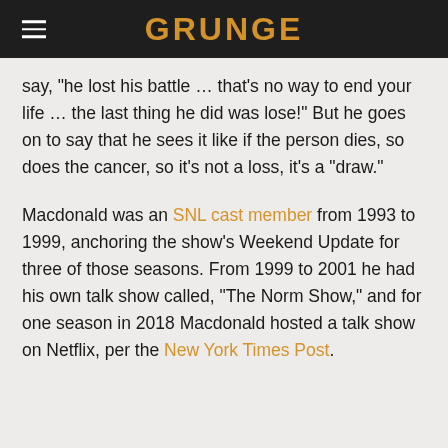GRUNGE
say, "he lost his battle … that's no way to end your life … the last thing he did was lose!" But he goes on to say that he sees it like if the person dies, so does the cancer, so it's not a loss, it's a "draw."
Macdonald was an SNL cast member from 1993 to 1999, anchoring the show's Weekend Update for three of those seasons. From 1999 to 2001 he had his own talk show called, "The Norm Show," and for one season in 2018 Macdonald hosted a talk show on Netflix, per the New York Times Post.